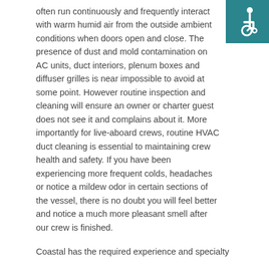[Figure (illustration): Wheelchair accessibility icon — white figure in wheelchair on teal/dark cyan square background, top-right corner]
often run continuously and frequently interact with warm humid air from the outside ambient conditions when doors open and close. The presence of dust and mold contamination on AC units, duct interiors, plenum boxes and diffuser grilles is near impossible to avoid at some point. However routine inspection and cleaning will ensure an owner or charter guest does not see it and complains about it. More importantly for live-aboard crews, routine HVAC duct cleaning is essential to maintaining crew health and safety. If you have been experiencing more frequent colds, headaches or notice a mildew odor in certain sections of the vessel, there is no doubt you will feel better and notice a much more pleasant smell after our crew is finished.
Coastal has the required experience and specialty